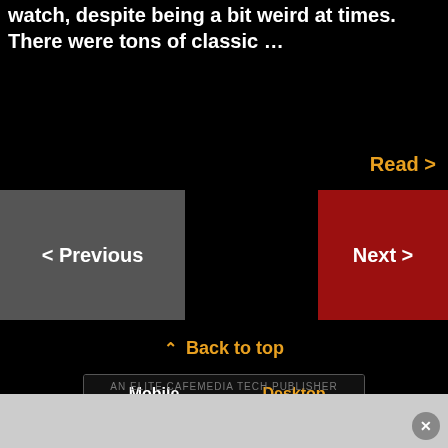watch, despite being a bit weird at times. There were tons of classic …
Read >
< Previous
Next >
^ Back to top
Mobile
Desktop
AN ELITE CAFEMEDIA TECH PUBLISHER